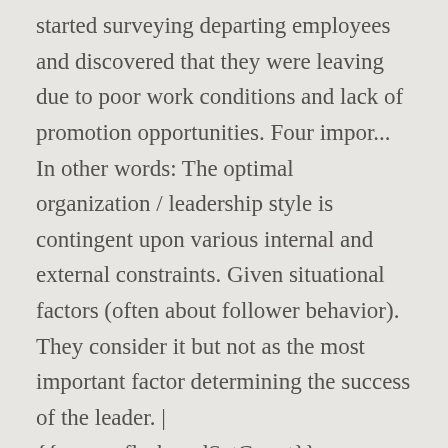started surveying departing employees and discovered that they were leaving due to poor work conditions and lack of promotion opportunities. Four impor... In other words: The optimal organization / leadership style is contingent upon various internal and external constraints. Given situational factors (often about follower behavior). They consider it but not as the most important factor determining the success of the leader. | {{course.flashcardSetCount}} Developmental | MTEL Biology (13): Practice & Study Guide, Intro to Physics for Teachers: Professional Development, SAT Subject Test Biology: Tutoring Solution, Instructional Strategies